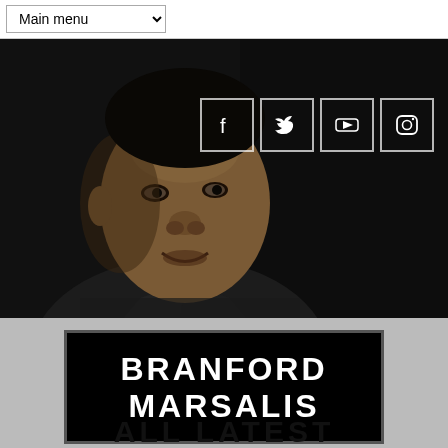Main menu
[Figure (photo): Close-up portrait of Branford Marsalis in a dark suit against a dark background, with social media icons (Facebook, Twitter, YouTube, Instagram) in the upper right]
BRANFORD MARSALIS
ALL NEWS | JAZZ NEWS | CLASSICAL NEWS
ALL LATEST